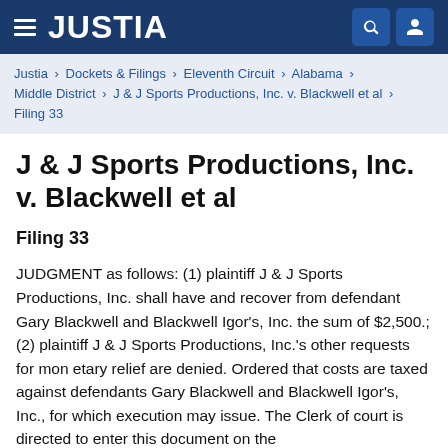JUSTIA
Justia › Dockets & Filings › Eleventh Circuit › Alabama › Middle District › J & J Sports Productions, Inc. v. Blackwell et al › Filing 33
J & J Sports Productions, Inc. v. Blackwell et al
Filing 33
JUDGMENT as follows: (1) plaintiff J & J Sports Productions, Inc. shall have and recover from defendant Gary Blackwell and Blackwell Igor's, Inc. the sum of $2,500.; (2) plaintiff J & J Sports Productions, Inc.'s other requests for mon etary relief are denied. Ordered that costs are taxed against defendants Gary Blackwell and Blackwell Igor's, Inc., for which execution may issue. The Clerk of court is directed to enter this document on the